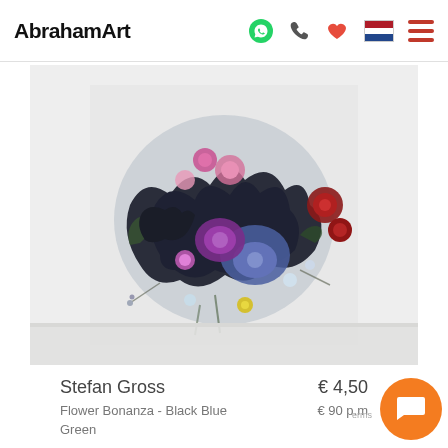AbrahamArt
[Figure (photo): Close-up photograph of a decorative floral sculpture titled 'Flower Bonanza - Black Blue Green' by Stefan Gross, featuring dark blue-black sculptural forms mixed with colorful flowers in red, purple, pink, yellow, and white against a light background.]
Stefan Gross
€ 4,50
Flower Bonanza - Black Blue
€ 90 p.m
Green